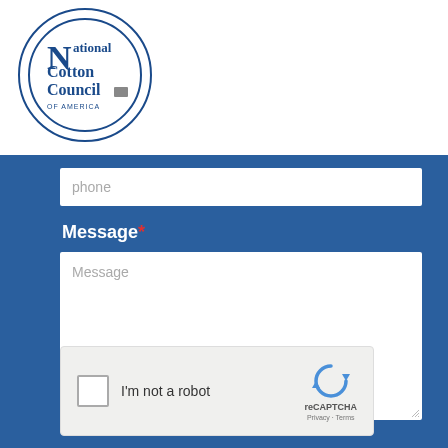[Figure (logo): National Cotton Council of America circular logo with blue border and text]
Phone (placeholder input field)
Message *
Message (placeholder textarea)
[Figure (screenshot): reCAPTCHA widget with checkbox, 'I'm not a robot' text, and reCAPTCHA logo with Privacy and Terms links]